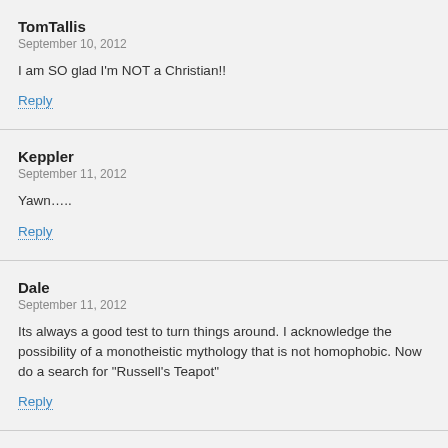TomTallis
September 10, 2012
I am SO glad I'm NOT a Christian!!
Reply
Keppler
September 11, 2012
Yawn….
Reply
Dale
September 11, 2012
Its always a good test to turn things around. I acknowledge the possibility of a monotheistic mythology that is not homophobic. Now do a search for "Russell's Teapot"
Reply
Michael C
September 11, 2012